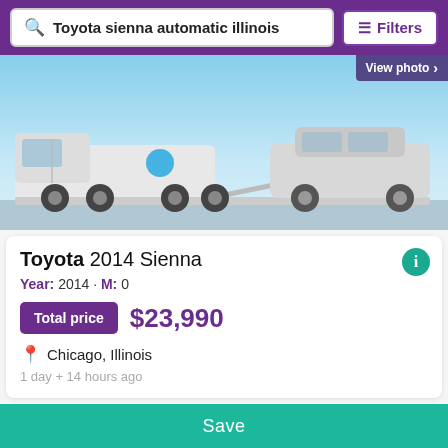Toyota sienna automatic illinois
[Figure (photo): Tow truck carrying a silver SUV, photographed on a road with blue sky background]
View photo
Toyota 2014 Sienna
Year: 2014 · M: 0
Total price $23,990
Chicago, Illinois
1 day + 14 hours ago
[Figure (photo): Partial view of a dark-colored car interior/exterior, bottom of page]
Save